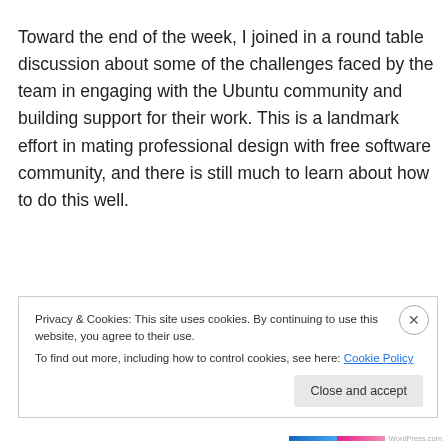Toward the end of the week, I joined in a round table discussion about some of the challenges faced by the team in engaging with the Ubuntu community and building support for their work. This is a landmark effort in mating professional design with free software community, and there is still much to learn about how to do this well.
Privacy & Cookies: This site uses cookies. By continuing to use this website, you agree to their use.
To find out more, including how to control cookies, see here: Cookie Policy